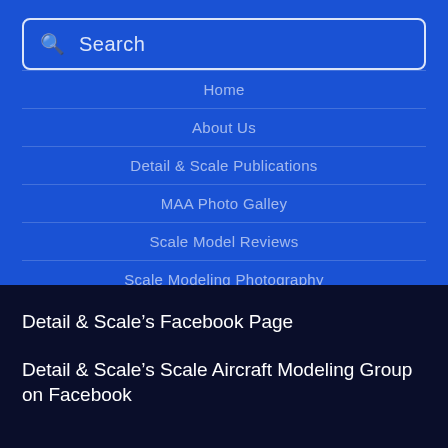Search
Home
About Us
Detail & Scale Publications
MAA Photo Galley
Scale Model Reviews
Scale Modeling Photography
Contact Us
Detail & Scale’s Facebook Page
Detail & Scale’s Scale Aircraft Modeling Group on Facebook